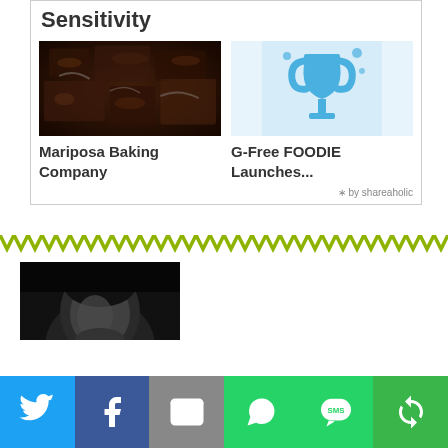Sensitivity
[Figure (photo): Close-up photo of dark chocolate brownie pieces]
[Figure (illustration): Blue trophy/award icon on light blue background]
Mariposa Baking Company
G-Free FOODIE Launches...
* by shareaholic
[Figure (other): Decorative zigzag/chevron divider in olive/yellow-green color]
[Figure (photo): Black and white photo of a person's head/face, partially visible]
[Figure (infographic): Social share bar with Twitter, Facebook, Email, WhatsApp, SMS, and More buttons]